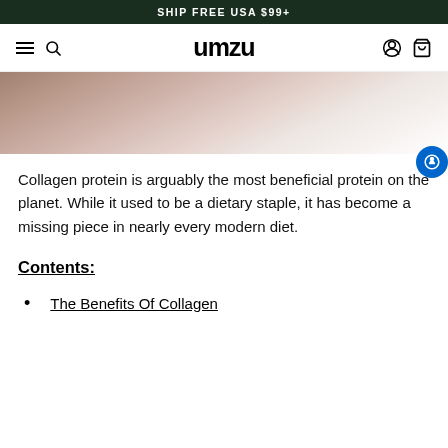SHIP FREE USA $99+
umzu
[Figure (photo): Close-up photo of a person's torso/shoulder area, light blurred background with neutral tones]
Collagen protein is arguably the most beneficial protein on the planet. While it used to be a dietary staple, it has become a missing piece in nearly every modern diet.
Contents:
The Benefits Of Collagen